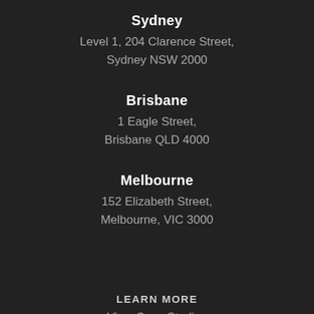Sydney
Level 1, 204 Clarence Street,
Sydney NSW 2000
Brisbane
1 Eagle Street,
Brisbane QLD 4000
Melbourne
152 Elizabeth Street,
Melbourne, VIC 3000
LEARN MORE
View Case Studies